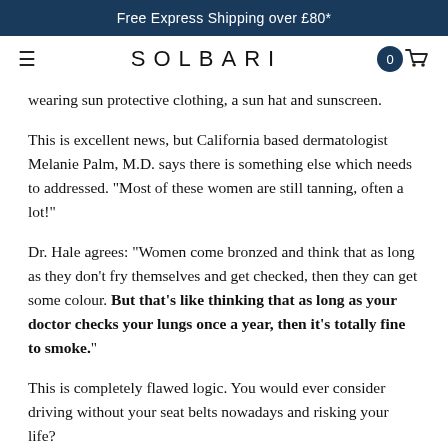Free Express Shipping over £80*
SOLBARI
wearing sun protective clothing, a sun hat and sunscreen.
This is excellent news, but California based dermatologist Melanie Palm, M.D. says there is something else which needs to addressed. "Most of these women are still tanning, often a lot!"
Dr. Hale agrees: "Women come bronzed and think that as long as they don't fry themselves and get checked, then they can get some colour. But that's like thinking that as long as your doctor checks your lungs once a year, then it's totally fine to smoke."
This is completely flawed logic. You would ever consider driving without your seat belts nowadays and risking your life?
Sadly, rates of melanoma, the deadliest form of skin cancer